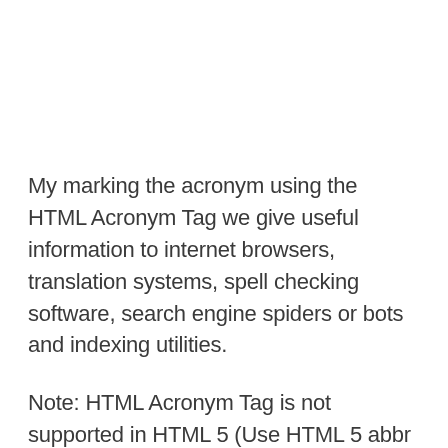My marking the acronym using the HTML Acronym Tag we give useful information to internet browsers, translation systems, spell checking software, search engine spiders or bots and indexing utilities.
Note: HTML Acronym Tag is not supported in HTML 5 (Use HTML 5 abbr Tag) but supported in HTML 4.0.1